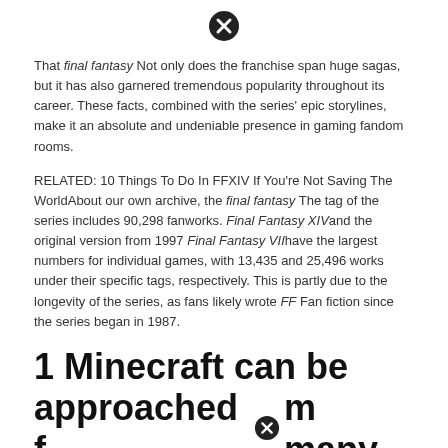[Figure (other): Close/cancel icon (circle with X) at top center of page]
That final fantasy Not only does the franchise span huge sagas, but it has also garnered tremendous popularity throughout its career. These facts, combined with the series' epic storylines, make it an absolute and undeniable presence in gaming fandom rooms.
RELATED: 10 Things To Do In FFXIV If You're Not Saving The World About our own archive, the final fantasy The tag of the series includes 90,298 fanworks. Final Fantasy XIV and the original version from 1997 Final Fantasy VII have the largest numbers for individual games, with 13,435 and 25,496 works under their specific tags, respectively. This is partly due to the longevity of the series, as fans likely wrote FF Fan fiction since the series began in 1987.
1 Minecraft can be approached from many
[Figure (other): Close/cancel icon (circle with X) embedded within the section title text at bottom of page]